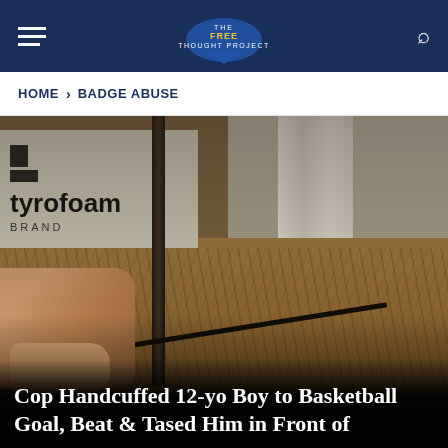The Free Thought Project
HOME > BADGE ABUSE
[Figure (photo): News article photo showing a close-up of a Styrofoam brand insulation sign, a vertical metal pole, wood chips/mulch on the ground, a person's hands in the lower left, and a horizontal cable. The image is the lead photo for a news story.]
Cop Handcuffed 12-yo Boy to Basketball Goal, Beat & Tased Him in Front of